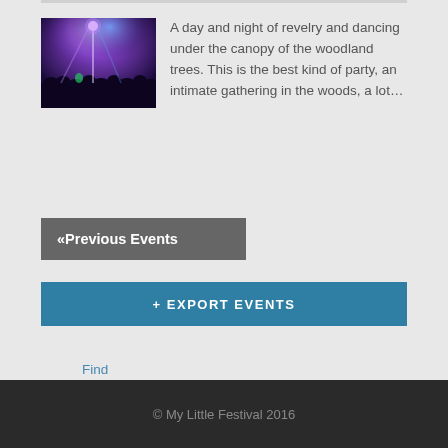[Figure (photo): Festival crowd scene with purple/blue stage lighting and people dancing under trees]
A day and night of revelry and dancing under the canopy of the woodland trees. This is the best kind of party, an intimate gathering in the woods, a lot…
Find out more »
«Previous Events
+ EXPORT EVENTS
© My Little Festival 2016